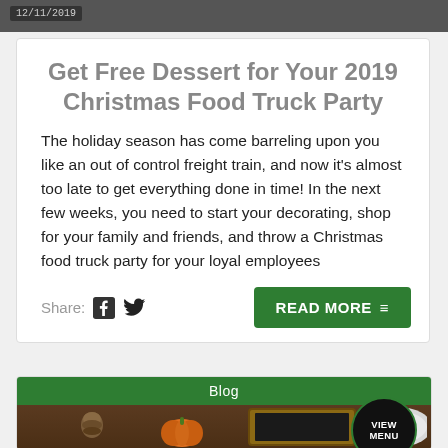[Figure (photo): Top strip showing a dark/food photo with a date badge '12/11/2019']
Get Free Dessert for Your 2019 Christmas Food Truck Party
The holiday season has come barreling upon you like an out of control freight train, and now it's almost too late to get everything done in time! In the next few weeks, you need to start your decorating, shop for your family and friends, and throw a Christmas food truck party for your loyal employees
Share:  [Facebook icon] [Twitter icon]   READ MORE ≡
[Figure (photo): Blog section header with green bar labeled 'Blog', autumn/Thanksgiving themed photo with pumpkin, pinecone, and chalkboard. 'VIEW MENU' circle button overlaid.]